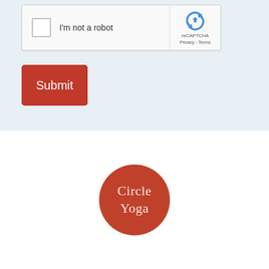[Figure (screenshot): reCAPTCHA widget with checkbox labeled 'I'm not a robot' and reCAPTCHA logo with Privacy and Terms links]
[Figure (other): Red submit button with white text 'Submit']
[Figure (logo): Circle Yoga logo: circular red badge with white text 'Circle Yoga']